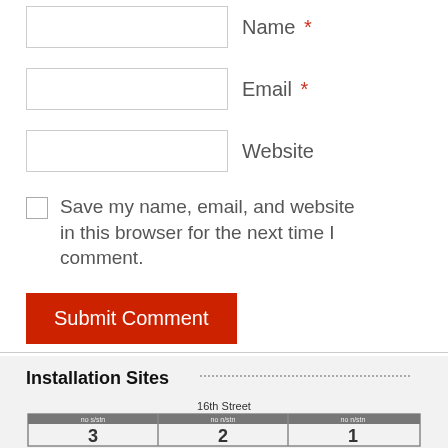Name *
Email *
Website
Save my name, email, and website in this browser for the next time I comment.
Submit Comment
Installation Sites
[Figure (map): Map showing 16th Street installation sites with numbered grid cells labeled 3, 2, 1]